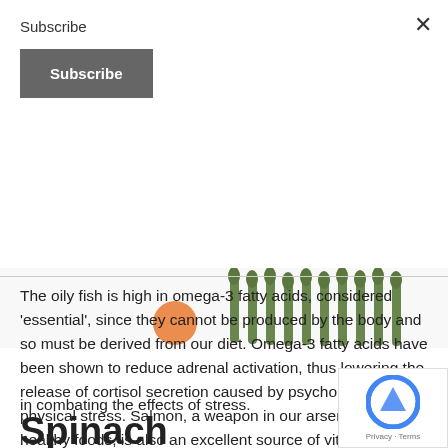Subscribe
Subscribe
[Figure (photo): Asparagus spears and an orange vegetable visible at the top edge of the content area]
The oily fish is high in omega-3 fatty acids, considered 'essential', since they cannot be produced by the body and so must be derived from our diet. Omega-3 fatty acids have been shown to reduce adrenal activation, thus lowering the release of cortisol secretion caused by psychological and physical stress. Salmon, a weapon in our arsenal of healthy foods, is also an excellent source of vitamin B12, B6 and vitamin D, and a good source of magnesium, all of which play a role in combating the effects of stress.
Spinach